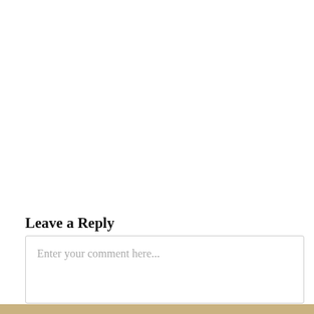It's good to know that someone with thyroid issues approved. I don't have that issue but it's good to know if they are safe for you the average person can be confident. Keep us posted on your results.
Loading...
REPLY TO MICHELLE FOSTER" ARIA-LABEL=' ↩ REPLY TO MICHELLE FOSTER'> ↩ REPLY
Leave a Reply
Enter your comment here...
This site uses Akismet to reduce spam. Learn